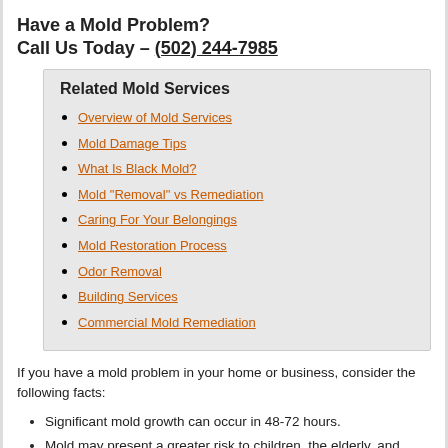Have a Mold Problem?
Call Us Today – (502) 244-7985
Related Mold Services
Overview of Mold Services
Mold Damage Tips
What Is Black Mold?
Mold "Removal" vs Remediation
Caring For Your Belongings
Mold Restoration Process
Odor Removal
Building Services
Commercial Mold Remediation
If you have a mold problem in your home or business, consider the following facts:
Significant mold growth can occur in 48-72 hours.
Mold may present a greater risk to children, the elderly, and anyone with respiratory problems.
A strong, musty odor may indicate hidden mold behind